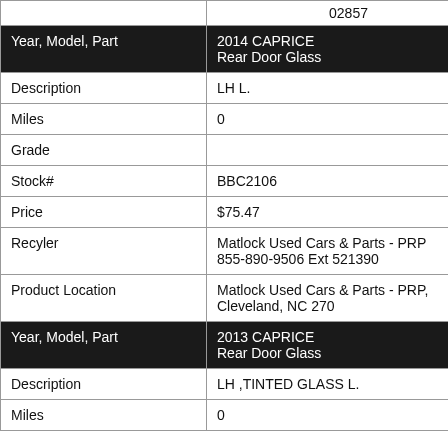|  |  |
| --- | --- |
|  | 02857 |
| Year, Model, Part | 2014 CAPRICE
Rear Door Glass |
| Description | LH L. |
| Miles | 0 |
| Grade |  |
| Stock# | BBC2106 |
| Price | $75.47 |
| Recyler | Matlock Used Cars & Parts - PRP
855-890-9506 Ext 521390 |
| Product Location | Matlock Used Cars & Parts - PRP, Cleveland, NC 270 |
| Year, Model, Part | 2013 CAPRICE
Rear Door Glass |
| Description | LH ,TINTED GLASS L. |
| Miles | 0 |